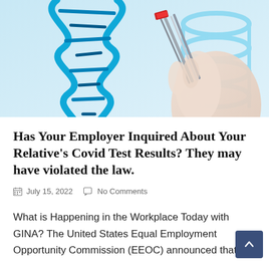[Figure (photo): A gloved hand holding tweezers/forceps with a red fragment near a blue 3D DNA double helix structure on a light blue background — genetic editing or medical/science concept image.]
Has Your Employer Inquired About Your Relative’s Covid Test Results? They may have violated the law.
July 15, 2022   No Comments
What is Happening in the Workplace Today with GINA? The United States Equal Employment Opportunity Commission (EEOC) announced that a